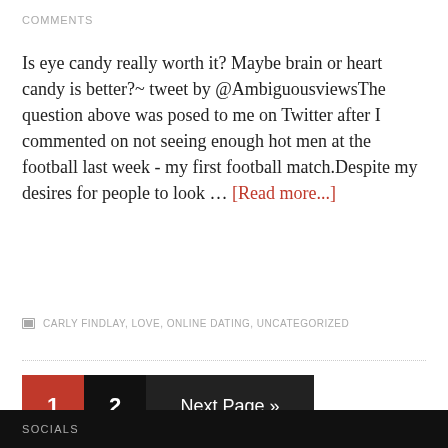COMMENTS
Is eye candy really worth it? Maybe brain or heart candy is better?~ tweet by @AmbiguousviewsThe question above was posed to me on Twitter after I commented on not seeing enough hot men at the football last week - my first football match.Despite my desires for people to look … [Read more...]
CARLY FINDLAY, LOVE, ONLINE DATING, UNCATEGORIZED
1  2  Next Page »
SOCIALS